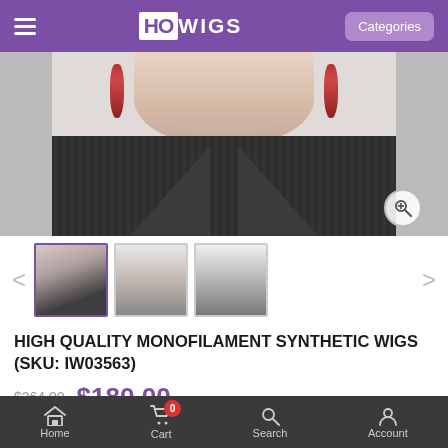HO WIGS — Categories
[Figure (photo): Product photo of a woman wearing a short silver/grey wig with dark clothing and red earrings, partially cropped showing neck and shoulders]
[Figure (photo): Three product thumbnails: (1) woman wearing short grey wig, (2) wig cap construction diagram view from top, (3) wig cap construction diagram view from front]
HIGH QUALITY MONOFILAMENT SYNTHETIC WIGS (SKU: IW03563)
$264.00  $180.00
SIZE: *
Average(A)
COLOUR: *
Home  Cart 0  Search  Account